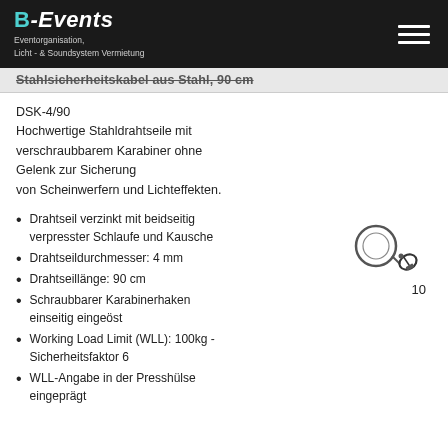B-Events Eventorganisation, Licht- & Soundsystem Vermietung
Stahlsicherheitskabel aus Stahl, 90 cm
DSK-4/90
Hochwertige Stahldrahtseile mit verschraubbarem Karabiner ohne Gelenk zur Sicherung von Scheinwerfern und Lichteffekten.
Drahtseil verzinkt mit beidseitig verpresster Schlaufe und Kausche
Drahtseildurchmesser: 4 mm
Drahtseillänge: 90 cm
Schraubbarer Karabinerhaken einseitig eingeöst
Working Load Limit (WLL): 100kg - Sicherheitsfaktor 6
WLL-Angabe in der Presshülse eingeprägt
[Figure (illustration): Steel safety cable with carabiner hook and thimble loop, shown as a product illustration with the number 10]